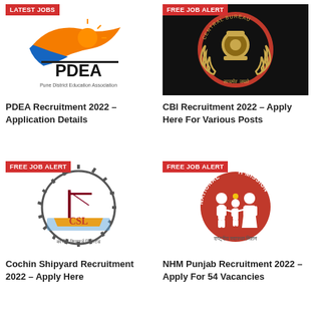[Figure (logo): PDEA (Pune District Education Association) logo with orange bird and sun graphic, text LATEST JOBS badge]
PDEA Recruitment 2022 – Application Details
[Figure (logo): CBI (Central Bureau of Investigation) logo on dark background with FREE JOB ALERT badge]
CBI Recruitment 2022 – Apply Here For Various Posts
[Figure (logo): Cochin Shipyard Limited (CSL) logo with gear and bridge imagery, FREE JOB ALERT badge]
Cochin Shipyard Recruitment 2022 – Apply Here
[Figure (logo): National Health Mission (NHM) Punjab logo with family figures on red circle, FREE JOB ALERT badge]
NHM Punjab Recruitment 2022 – Apply For 54 Vacancies